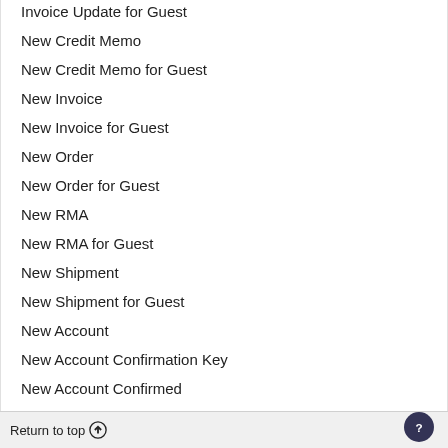Invoice Update for Guest
New Credit Memo
New Credit Memo for Guest
New Invoice
New Invoice for Guest
New Order
New Order for Guest
New RMA
New RMA for Guest
New Shipment
New Shipment for Guest
New Account
New Account Confirmation Key
New Account Confirmed
Newsletter Subscription Confirmation
Newsletter Subscription Success
Newsletter Unsubscribe Success
Return to top ↑